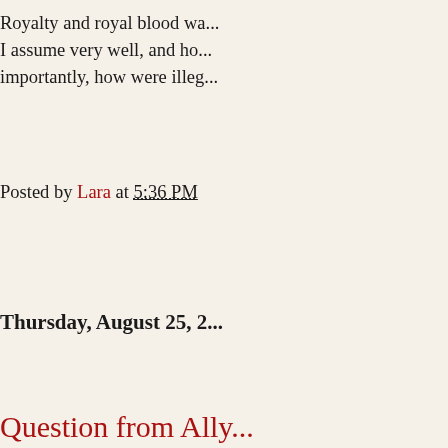Royalty and royal blood wa... I assume very well, and ho... importantly, how were illeg...
Posted by Lara at 5:36 PM
Thursday, August 25, 2...
Question from Ally...
Hello, I'm doing research fo... fiction but I want to have th...
What were the rolls of visc... above and under?
Can you tell me anything o... the time (specifically the bo...
Another question I have is... were they reported, enforc...